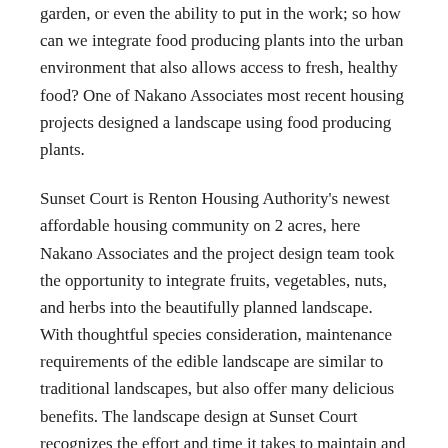garden, or even the ability to put in the work; so how can we integrate food producing plants into the urban environment that also allows access to fresh, healthy food? One of Nakano Associates most recent housing projects designed a landscape using food producing plants.
Sunset Court is Renton Housing Authority's newest affordable housing community on 2 acres, here Nakano Associates and the project design team took the opportunity to integrate fruits, vegetables, nuts, and herbs into the beautifully planned landscape. With thoughtful species consideration, maintenance requirements of the edible landscape are similar to traditional landscapes, but also offer many delicious benefits. The landscape design at Sunset Court recognizes the effort and time it takes to maintain and harvest the plants and trees and also considers who will be utilizing the open space between planting and shrub areas. Being